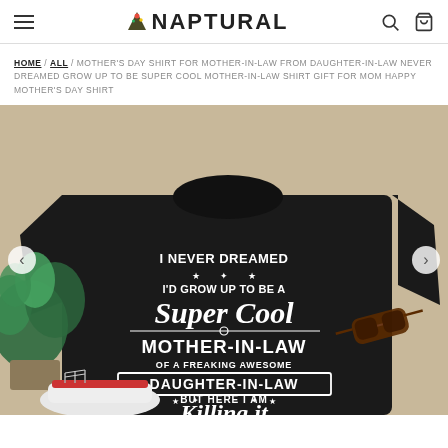NAPTURAL — navigation header with hamburger menu, logo, search and cart icons
HOME / ALL / MOTHER'S DAY SHIRT FOR MOTHER-IN-LAW FROM DAUGHTER-IN-LAW NEVER DREAMED GROW UP TO BE SUPER COOL MOTHER-IN-LAW SHIRT GIFT FOR MOM HAPPY MOTHER'S DAY SHIRT
[Figure (photo): Product photo of a black t-shirt laid flat on a beige surface. The shirt reads: I NEVER DREAMED I'D GROW UP TO BE A Super Cool MOTHER-IN-LAW OF A FREAKING AWESOME DAUGHTER-IN-LAW BUT HERE I AM Killing it. Green plant on the left, sunglasses on the right, white sneakers at bottom-left. Navigation arrows on sides.]